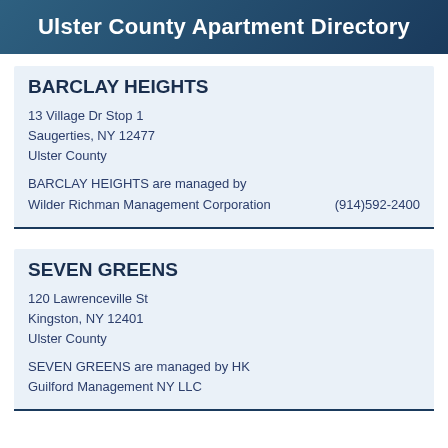Ulster County Apartment Directory
BARCLAY HEIGHTS
13 Village Dr Stop 1
Saugerties, NY 12477
Ulster County
BARCLAY HEIGHTS are managed by Wilder Richman Management Corporation
(914)592-2400
SEVEN GREENS
120 Lawrenceville St
Kingston, NY 12401
Ulster County
SEVEN GREENS are managed by HK Guilford Management NY LLC